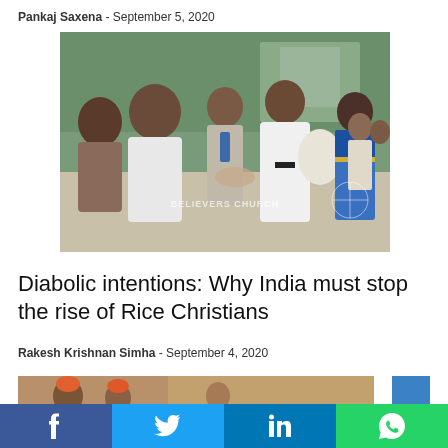Pankaj Saxena - September 5, 2020
[Figure (photo): A group of people outdoors; a man in white priest robes hands a bag of rice to a woman in a blue saree; others stand around watching. A 'Believers Church' watermark is visible.]
Diabolic intentions: Why India must stop the rise of Rice Christians
Rakesh Krishnan Simha - September 4, 2020
[Figure (photo): Partial view of a second article's photo showing historical figures in orange/red attire, partially cropped.]